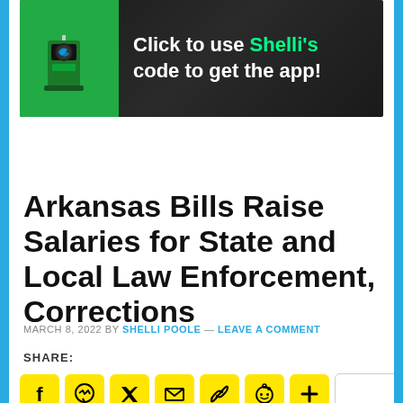[Figure (other): Advertisement banner: green EV charging station icon on left, dark background with text 'Click to use Shelli's code to get the app!' in white and green on right]
Arkansas Bills Raise Salaries for State and Local Law Enforcement, Corrections
MARCH 8, 2022 BY SHELLI POOLE — LEAVE A COMMENT
SHARE:
[Figure (other): Row of yellow social media share buttons: Facebook, Messenger, Twitter, Email, Link, Reddit, Plus/More, and a white wide button]